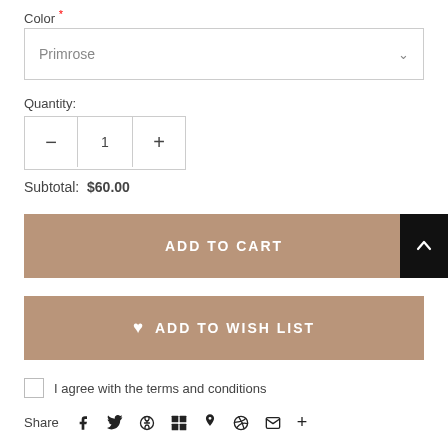Color *
Primrose
Quantity:
− 1 +
Subtotal: $60.00
ADD TO CART
♥ ADD TO WISH LIST
I agree with the terms and conditions
Share